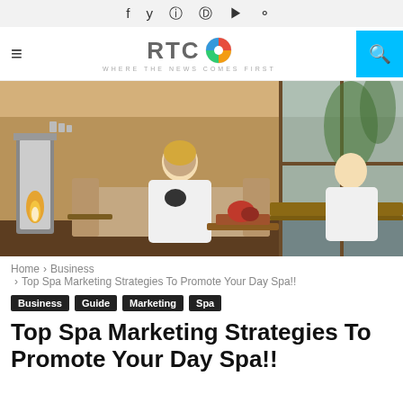f  y  IG  P  ▶  ⬡
[Figure (logo): RTC logo with colorful circle icon and tagline WHERE THE NEWS COMES FIRST]
[Figure (photo): Two people in white spa robes relaxing in a luxury spa lounge with a fireplace and large windows]
Home > Business > Top Spa Marketing Strategies To Promote Your Day Spa!!
Business
Guide
Marketing
Spa
Top Spa Marketing Strategies To Promote Your Day Spa!!